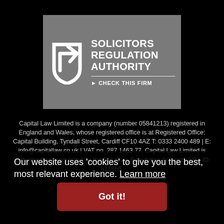[Figure (logo): Solicitors Regulation Authority logo on grey background with shield/arrow icon and 'Check This Firm' link]
Capital Law Limited is a company (number 05841213) registered in England and Wales, whose registered office is at Registered Office: Capital Building, Tyndall Street, Cardiff CF10 4AZ T: 0333 2400 489 | E: info@capitallaw.co.uk | VAT no. 287 1463 77. Capital Law Limited is authorised and regulated by the Solicitors Regulation Authority SRA ID: 511555.
Our website uses 'cookies' to give you the best, most relevant experience. Learn more
Got it!